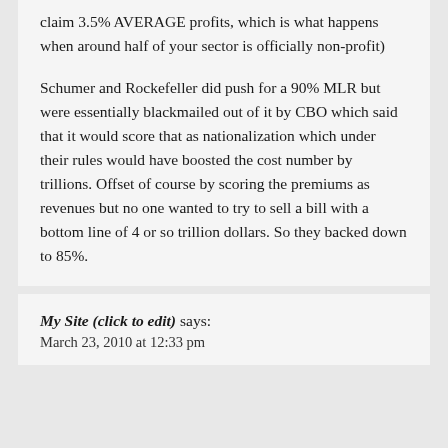claim 3.5% AVERAGE profits, which is what happens when around half of your sector is officially non-profit)
Schumer and Rockefeller did push for a 90% MLR but were essentially blackmailed out of it by CBO which said that it would score that as nationalization which under their rules would have boosted the cost number by trillions. Offset of course by scoring the premiums as revenues but no one wanted to try to sell a bill with a bottom line of 4 or so trillion dollars. So they backed down to 85%.
My Site (click to edit) says: March 23, 2010 at 12:33 pm